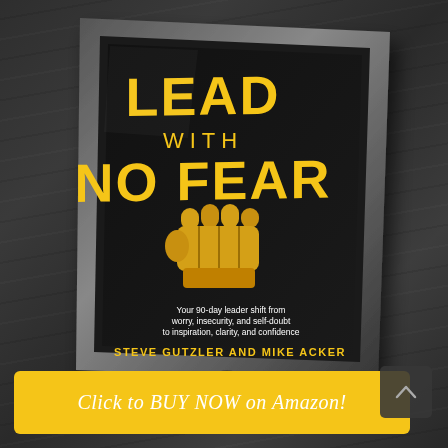[Figure (photo): A tablet device (iPad-like) displayed at an angle on a dark wood surface, showing the book cover 'Lead With No Fear' by Steve Gutzler and Mike Acker. The cover has a black background with large yellow bold text reading 'LEAD WITH NO FEAR', a yellow illustrated fist graphic, a subtitle 'Your 90-day leader shift from worry, insecurity, and self-doubt to inspiration, clarity, and confidence', and the authors' names 'STEVE GUTZLER AND MIKE ACKER' in yellow.]
Click to BUY NOW on Amazon!